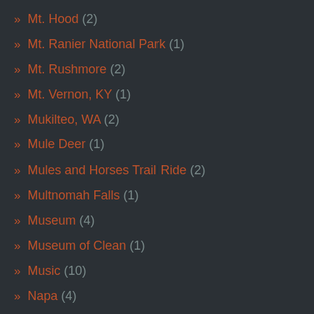» Mt. Hood (2)
» Mt. Ranier National Park (1)
» Mt. Rushmore (2)
» Mt. Vernon, KY (1)
» Mukilteo, WA (2)
» Mule Deer (1)
» Mules and Horses Trail Ride (2)
» Multnomah Falls (1)
» Museum (4)
» Museum of Clean (1)
» Music (10)
» Napa (4)
» Naples, UT (1)
» Nashville, TN (6)